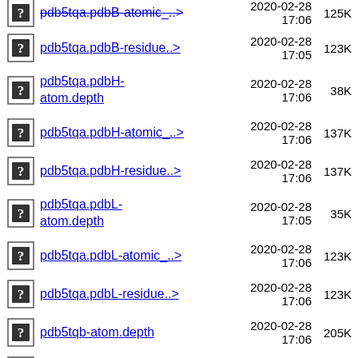pdb5tqa.pdbB-atomic_..> 2020-02-28 17:06 125K
pdb5tqa.pdbB-residue..> 2020-02-28 17:05 123K
pdb5tqa.pdbH-atom.depth 2020-02-28 17:06 38K
pdb5tqa.pdbH-atomic_..> 2020-02-28 17:06 137K
pdb5tqa.pdbH-residue..> 2020-02-28 17:06 137K
pdb5tqa.pdbL-atom.depth 2020-02-28 17:05 35K
pdb5tqa.pdbL-atomic_..> 2020-02-28 17:06 123K
pdb5tqa.pdbL-residue..> 2020-02-28 17:06 123K
pdb5tqb-atom.depth 2020-02-28 17:06 205K
pdb5tqb-atomic_depth..> 2020-02-28 17:06 702K
pdb5tqb-residue.depth 2020-02-28 17:05 45K
pdb5tqb-residue_dept..> 2020-02-28 17:05 702K